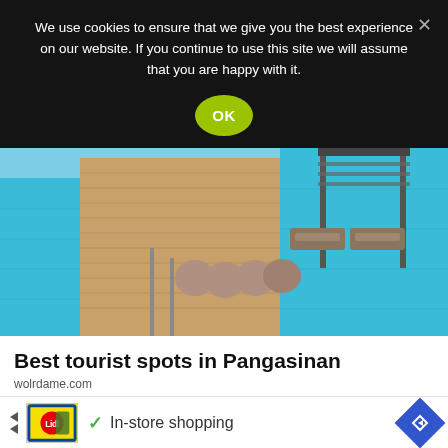We use cookies to ensure that we give you the best experience on our website. If you continue to use this site we will assume that you are happy with it.
[Figure (photo): Overwater pool/deck resort photo with turquoise water, wooden boardwalk, lounge chairs and bean bags under a pergola]
Best tourist spots in Pangasinan
wolrdame.com
[Figure (photo): Partial view of a person with red/auburn hair against a light grey background]
[Figure (infographic): Advertisement bar: Lidl logo with product image, checkmark icon with text 'In-store shopping', and a blue diamond navigation icon]